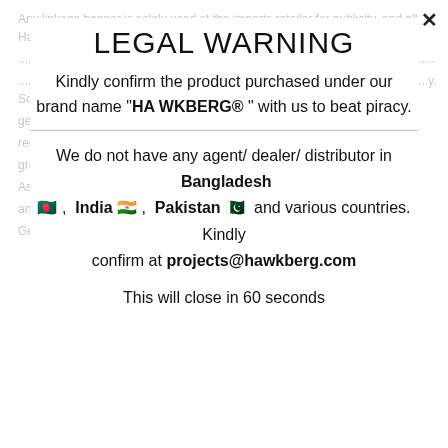LEGAL WARNING
Kindly confirm the product purchased under our brand name "HAWKBERG® " with us to beat piracy.
We do not have any agent/ dealer/ distributor in Bangladesh 🇧🇩, India 🇮🇳, Pakistan 🇵🇰 and various countries. Kindly confirm at projects@hawkberg.com
This will close in 60 seconds